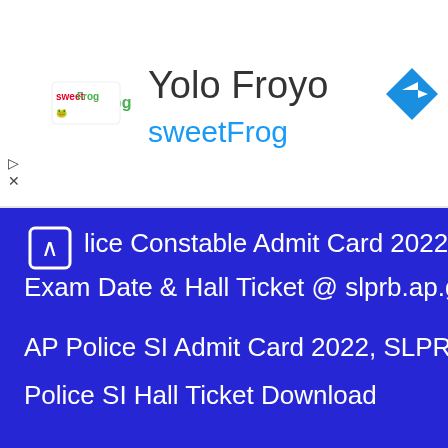[Figure (logo): sweetFrog frozen yogurt advertisement banner with logo and navigation arrow icon]
Police Constable Admit Card 2022, Written Exam Date & Hall Ticket @ slprb.ap.gov.in
AP Police SI Admit Card 2022, SLPRB Andhra Police SI Hall Ticket Download
Result Updates
WB Food Supply SI Result 2022 – Written / Final Result Here